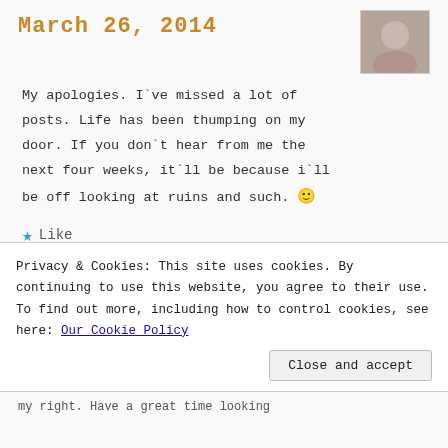March 26, 2014
My apologies. I`ve missed a lot of posts. Life has been thumping on my door. If you don`t hear from me the next four weeks, it`ll be because i`ll be off looking at ruins and such. 🙂
★ Like
Kendall F. Person,
Privacy & Cookies: This site uses cookies. By continuing to use this website, you agree to their use. To find out more, including how to control cookies, see here: Our Cookie Policy
Close and accept
my right. Have a great time looking